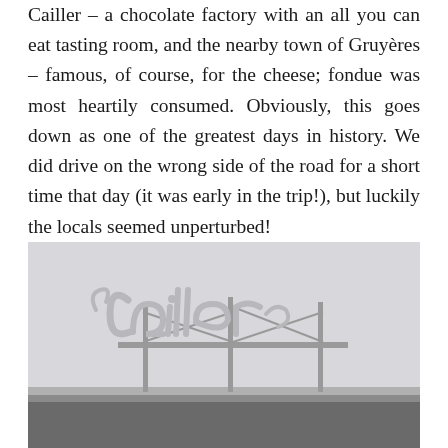Cailler – a chocolate factory with an all you can eat tasting room, and the nearby town of Gruyères – famous, of course, for the cheese; fondue was most heartily consumed. Obviously, this goes down as one of the greatest days in history. We did drive on the wrong side of the road for a short time that day (it was early in the trip!), but luckily the locals seemed unperturbed!
[Figure (photo): Black and white photograph of the Cailler chocolate factory sign mounted on top of a building roofline, photographed from below against a light grey sky.]